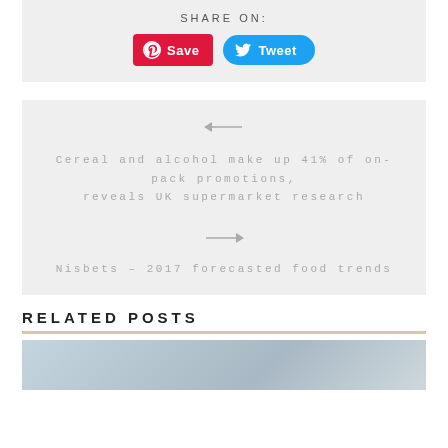SHARE ON:
[Figure (infographic): Social share buttons: Pinterest Save (red) and Twitter Tweet (blue)]
← Cereal and alcohol make up 41% of on-pack promotions, reveals UK supermarket research
→ Nisbets – 2017 forecasted food trends
RELATED POSTS
[Figure (photo): Partial photo visible at bottom of page]